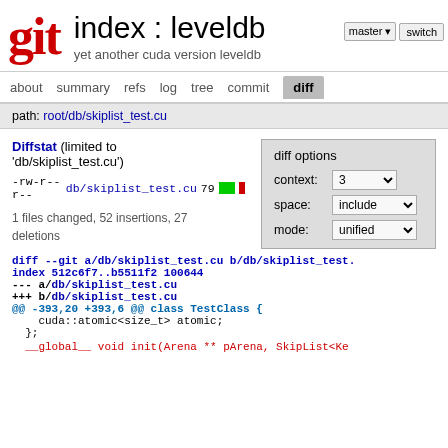git   index : leveldb   yet another cuda version leveldb
about  summary  refs  log  tree  commit  diff
path: root/db/skiplist_test.cu
Diffstat (limited to 'db/skiplist_test.cu')
-rw-r--r-- db/skiplist_test.cu 79
1 files changed, 52 insertions, 27 deletions
diff options
context: 3
space: include
mode: unified
diff --git a/db/skiplist_test.cu b/db/skiplist_test.
index 512c6f7..b5511f2 100644
--- a/db/skiplist_test.cu
+++ b/db/skiplist_test.cu
@@ -393,20 +393,6 @@ class TestClass {
    cuda::atomic<size_t> atomic;
  };
__global__ void init(Arena ** pArena, SkipList<Ke